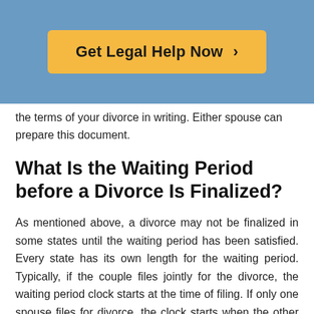[Figure (other): Yellow button with text 'Get Legal Help Now >' on a blue background header]
the terms of your divorce in writing. Either spouse can prepare this document.
What Is the Waiting Period before a Divorce Is Finalized?
As mentioned above, a divorce may not be finalized in some states until the waiting period has been satisfied. Every state has its own length for the waiting period. Typically, if the couple files jointly for the divorce, the waiting period clock starts at the time of filing. If only one spouse files for divorce, the clock starts when the other party has been served and given notice of the divorce.
The length of the waiting period before a divorce is